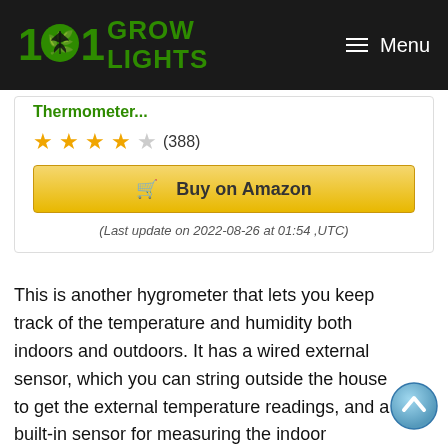101 Grow Lights — Menu
Thermometer...
★★★★☆ (388)
Buy on Amazon
(Last update on 2022-08-26 at 01:54 ,UTC)
This is another hygrometer that lets you keep track of the temperature and humidity both indoors and outdoors. It has a wired external sensor, which you can string outside the house to get the external temperature readings, and a built-in sensor for measuring the indoor temperature and humidity.